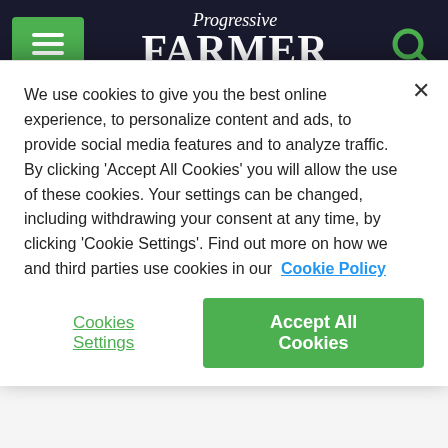Progressive FARMER powered by DTN - MENU / Search
Chernobyl nuclear site early Friday after returning control to the Ukrainians, authorities said, as residents in parts of eastern Ukraine braced for renewed attacks and awaited blocked supplies of food and other humanitarian relief.
Ukraine's state power company, Energoatom, said the pullout at Chernobyl came after soldiers received "significant doses" of radiation from digging trenches in the forest in the exclusion zone around the plant. The International Atomic Energy A...
We use cookies to give you the best online experience, to personalize content and ads, to provide social media features and to analyze traffic. By clicking 'Accept All Cookies' you will allow the use of these cookies. Your settings can be changed, including withdrawing your consent at any time, by clicking 'Cookie Settings'. Find out more on how we and third parties use cookies in our Cookie Policy